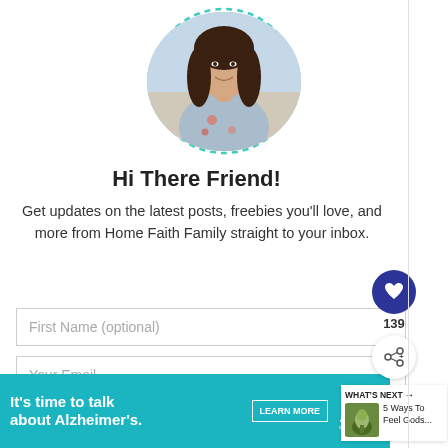[Figure (photo): Circular profile photo of a smiling woman with long dark hair wearing a floral blouse, with a dashed teal circular border around it]
Hi There Friend!
Get updates on the latest posts, freebies you'll love, and more from Home Faith Family straight to your inbox.
First Name (optional)
Your Email...
[Figure (infographic): Advertisement banner: teal background with text 'It's time to talk about Alzheimer's.' with a LEARN MORE button and Alzheimer's Association logo]
[Figure (infographic): Sidebar: heart icon button (dark blue circle), count 139, share icon button, WHAT'S NEXT panel with small image and text '5 Ways To Feel Gods...']